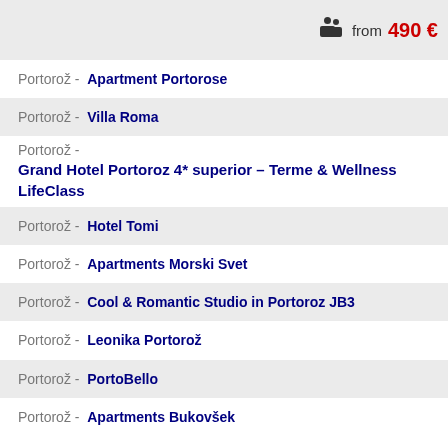from 490 €
Portorož - Apartment Portorose
Portorož - Villa Roma
Portorož - Grand Hotel Portoroz 4* superior – Terme & Wellness LifeClass
Portorož - Hotel Tomi
Portorož - Apartments Morski Svet
Portorož - Cool & Romantic Studio in Portoroz JB3
Portorož - Leonika Portorož
Portorož - PortoBello
Portorož - Apartments Bukovšek